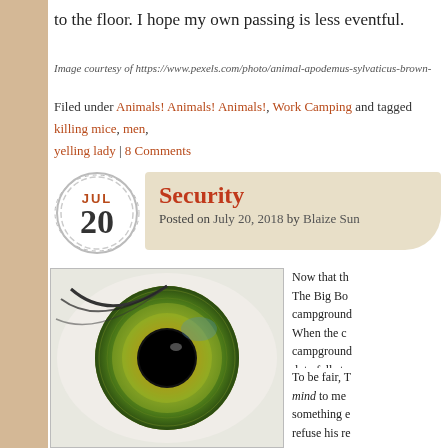to the floor. I hope my own passing is less eventful.
Image courtesy of https://www.pexels.com/photo/animal-apodemus-sylvaticus-brown-
Filed under Animals! Animals! Animals!, Work Camping and tagged killing mice, men, yelling lady | 8 Comments
Security
Posted on July 20, 2018 by Blaize Sun
[Figure (photo): Close-up macro photo of a green human eye with detailed iris texture and black pupil]
Now that th... The Big Bos... campground... When the c... campground... duty falls to...
To be fair, T... mind to me... something e... refuse his re...